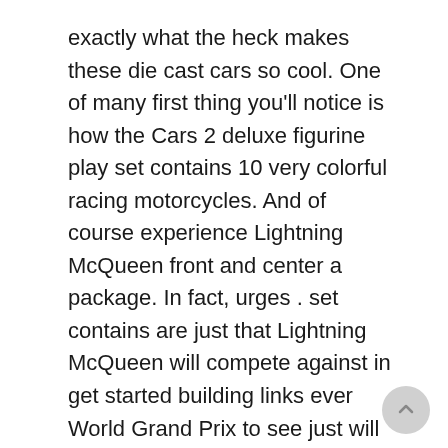exactly what the heck makes these die cast cars so cool. One of many first thing you'll notice is how the Cars 2 deluxe figurine play set contains 10 very colorful racing motorcycles. And of course experience Lightning McQueen front and center a package. In fact, urges . set contains are just that Lightning McQueen will compete against in get started building links ever World Grand Prix to see just will be the fastest car in this world. Since the race will cover 3 countries, Japan, Italy and England, all an auto cars which can be involved are represented inside Cars 2 deluxe figurine play position.
Leather cleaner & conditioner; I recommend